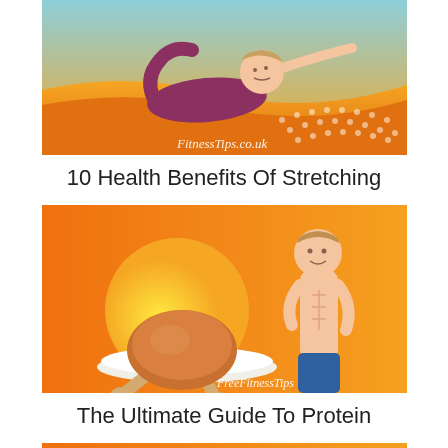[Figure (illustration): Cartoon illustration of a person stretching/lying down in a yoga pose on an orange background with FitnessTips.co.uk watermark]
10 Health Benefits Of Stretching
[Figure (illustration): Cartoon illustration of a fit man showing abs alongside a roasted chicken with bones on an orange/yellow background with FreeFitnessTips watermark]
The Ultimate Guide To Protein
[Figure (illustration): Cartoon illustration partially visible at bottom, showing two cartoon characters on an orange background]